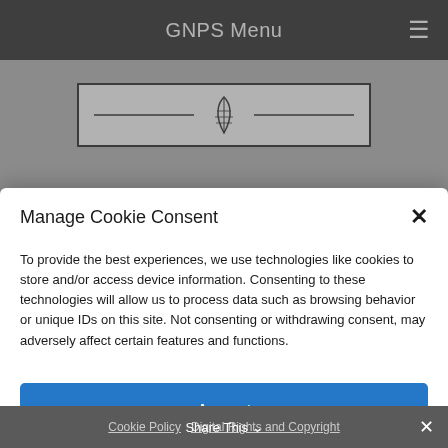GNPS Menu
[Figure (logo): GNPS logo with border box and decorative icon]
MEMBERS
Become A Member
Get Involved
Manage Cookie Consent
To provide the best experiences, we use technologies like cookies to store and/or access device information. Consenting to these technologies will allow us to process data such as browsing behavior or unique IDs on this site. Not consenting or withdrawing consent, may adversely affect certain features and functions.
Accept
Cookie Policy   Digital Rights and Copyright   Share This